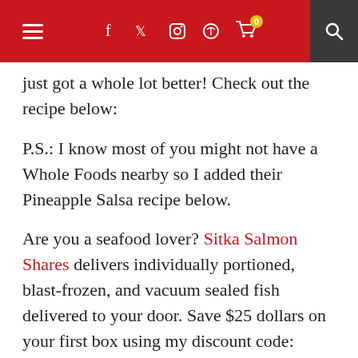Navigation bar with hamburger menu, social icons (f, Twitter, Instagram, Pinterest), cart with badge 0, and search icon
just got a whole lot better! Check out the recipe below:
P.S.: I know most of you might not have a Whole Foods nearby so I added their Pineapple Salsa recipe below.
Are you a seafood lover? Sitka Salmon Shares delivers individually portioned, blast-frozen, and vacuum sealed fish delivered to your door. Save $25 dollars on your first box using my discount code: ForksFish.
[Figure (photo): Partial photo of food items at the bottom of the page, showing warm yellow-orange colors suggesting pineapple salsa or similar dish]